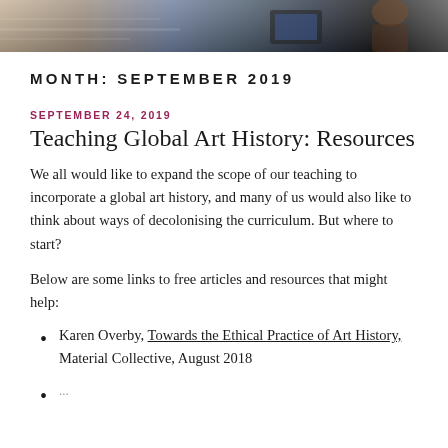[Figure (photo): A photograph strip showing people in a classroom or library setting with computers/shelving in the background.]
MONTH: SEPTEMBER 2019
SEPTEMBER 24, 2019
Teaching Global Art History: Resources
We all would like to expand the scope of our teaching to incorporate a global art history, and many of us would also like to think about ways of decolonising the curriculum. But where to start?
Below are some links to free articles and resources that might help:
Karen Overby, Towards the Ethical Practice of Art History, Material Collective, August 2018
...